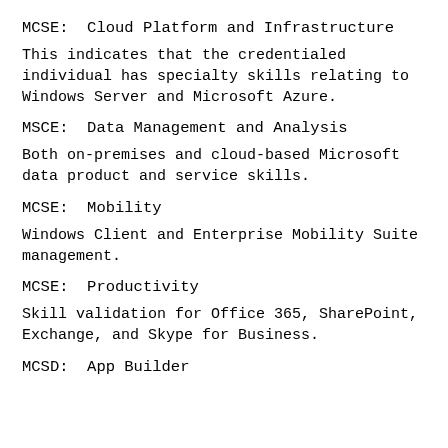MCSE:  Cloud Platform and Infrastructure
This indicates that the credentialed individual has specialty skills relating to Windows Server and Microsoft Azure.
MSCE:  Data Management and Analysis
Both on-premises and cloud-based Microsoft data product and service skills.
MCSE:  Mobility
Windows Client and Enterprise Mobility Suite management.
MCSE:  Productivity
Skill validation for Office 365, SharePoint, Exchange, and Skype for Business.
MCSD:  App Builder